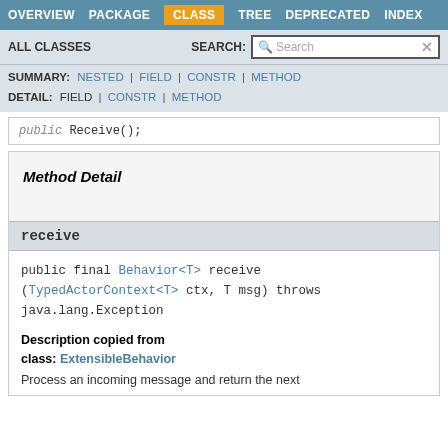OVERVIEW  PACKAGE  CLASS  TREE  DEPRECATED  INDEX
ALL CLASSES  SEARCH:
SUMMARY: NESTED | FIELD | CONSTR | METHOD  DETAIL: FIELD | CONSTR | METHOD
public Receive();
Method Detail
receive
public final Behavior<T> receive (TypedActorContext<T> ctx, T msg) throws java.lang.Exception
Description copied from class: ExtensibleBehavior
Process an incoming message and return the next